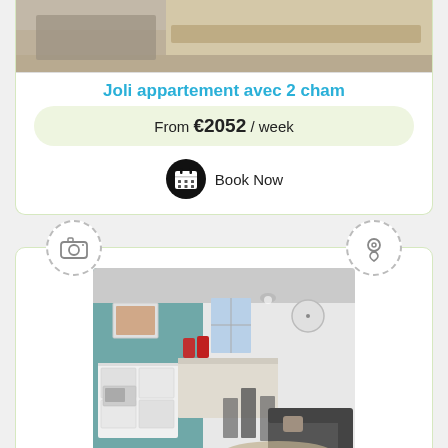[Figure (photo): Top portion of apartment room photo, partially visible at top of page]
Joli appartement avec 2 cham
From €2052 / week
Book Now
[Figure (photo): Interior photo of Chez Lucia apartment showing kitchen, dining area and living room with teal accent wall]
Chez Lucia à 400m du centre v
From €2429 / week